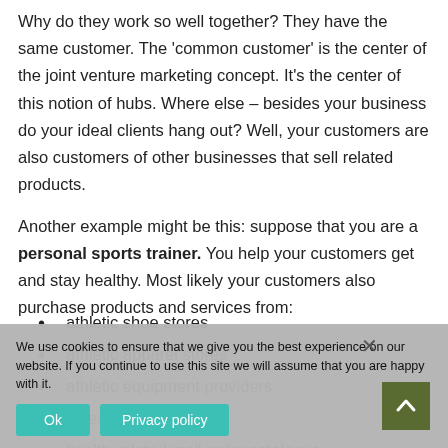Why do they work so well together? They have the same customer. The 'common customer' is the center of the joint venture marketing concept. It's the center of this notion of hubs. Where else – besides your business do your ideal clients hang out? Well, your customers are also customers of other businesses that sell related products.
Another example might be this: suppose that you are a personal sports trainer. You help your customers get and stay healthy. Most likely your customers also purchase products and services from:
athletic shoe stores
athletic apparel stores
athletic equipment providers
fitness centers
health-related mail order catalogue
We use cookies to ensure that we give you the best experience on our website. If you continue to use this site we will assume that you are happy with it.